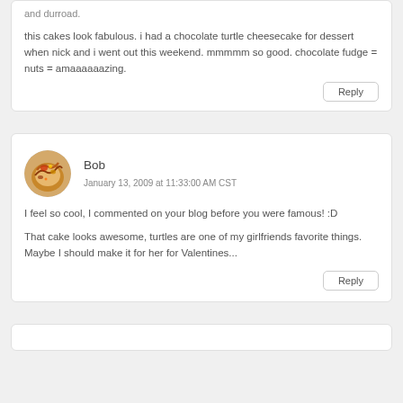and durroad.
this cakes look fabulous. i had a chocolate turtle cheesecake for dessert when nick and i went out this weekend. mmmmm so good. chocolate fudge = nuts = amaaaaaazing.
Reply
Bob
January 13, 2009 at 11:33:00 AM CST
I feel so cool, I commented on your blog before you were famous! :D
That cake looks awesome, turtles are one of my girlfriends favorite things. Maybe I should make it for her for Valentines...
Reply